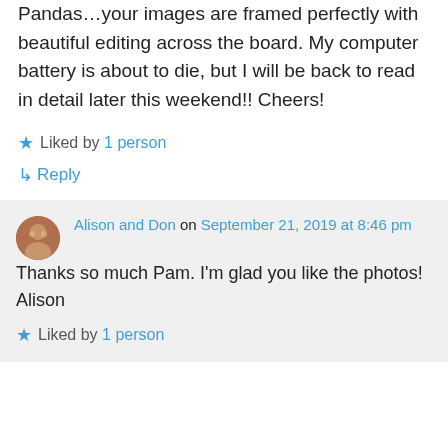Pandas…your images are framed perfectly with beautiful editing across the board. My computer battery is about to die, but I will be back to read in detail later this weekend!! Cheers!
Liked by 1 person
↳ Reply
Alison and Don on September 21, 2019 at 8:46 pm
Thanks so much Pam. I'm glad you like the photos!
Alison
Liked by 1 person